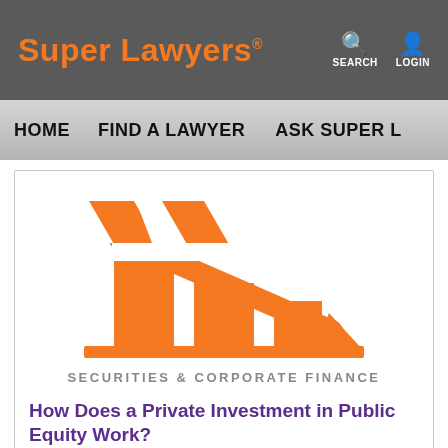Super Lawyers® | SEARCH | LOGIN
HOME | FIND A LAWYER | ASK SUPER L...
[Figure (illustration): Orange bar chart icon with a downward-trending arrow, representing Securities & Corporate Finance]
SECURITIES & CORPORATE FINANCE
How Does a Private Investment in Public Equity Work?
A legal overview of the discount investment purchase methodA legal overview of the discount investment purchase method